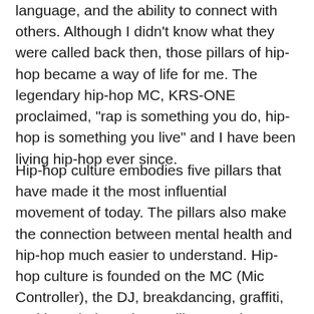language, and the ability to connect with others. Although I didn't know what they were called back then, those pillars of hip-hop became a way of life for me. The legendary hip-hop MC, KRS-ONE proclaimed, "rap is something you do, hip-hop is something you live" and I have been living hip-hop ever since.
Hip-hop culture embodies five pillars that have made it the most influential movement of today. The pillars also make the connection between mental health and hip-hop much easier to understand. Hip-hop culture is founded on the MC (Mic Controller), the DJ, breakdancing, graffiti, and knowledge. These pillars are the foundational aspects of a culture that originated in the Bronx, New York in the 1970s. The hip-hop education scholar Dr. Christopher Emdin stated, "hip-hop was born out of the same experiences" in the 1970s...